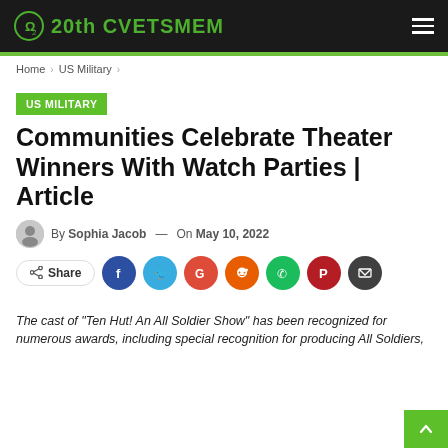20th CVETSМЕМ
Home > US Military >
US MILITARY
Communities Celebrate Theater Winners With Watch Parties | Article
By Sophia Jacob — On May 10, 2022
Share
The cast of "Ten Hut! An All Soldier Show" has been recognized for numerous awards, including special recognition for producing All Soldiers,